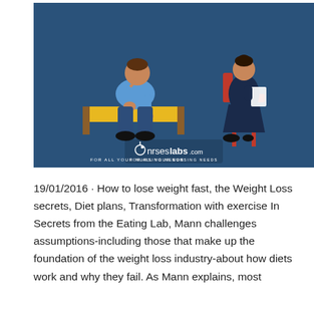[Figure (illustration): Illustration of a dejected man sitting on a yellow bench/sofa with head bowed, and a professional woman sitting on a red chair taking notes, against a dark blue background. NursesLabs.com logo with tagline 'FOR ALL YOUR NURSING NEEDS' at the bottom of the image.]
19/01/2016 · How to lose weight fast, the Weight Loss secrets, Diet plans, Transformation with exercise In Secrets from the Eating Lab, Mann challenges assumptions-including those that make up the foundation of the weight loss industry-about how diets work and why they fail. As Mann explains, most weight loss...